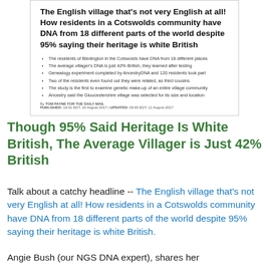[Figure (screenshot): Screenshot of a Daily Mail article with bold headline: 'The English village that's not very English at all! How residents in a Cotswolds community have DNA from 18 different parts of the world despite 95% saying their heritage is white British', followed by bullet points and byline by Tom Payne for the Daily Mail, published 10 August 2017.]
Though 95% Said Heritage Is White British, The Average Villager is Just 42% British
Talk about a catchy headline -- The English village that's not very English at all! How residents in a Cotswolds community have DNA from 18 different parts of the world despite 95% saying their heritage is white British.
Angie Bush (our NGS DNA expert), shares her